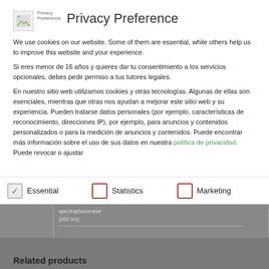[Figure (logo): Privacy Preference logo image (broken image icon with small text 'Privacy Preference' below)]
Privacy Preference
We use cookies on our website. Some of them are essential, while others help us to improve this website and your experience.
Si eres menor de 16 años y quieres dar tu consentimiento a los servicios opcionales, debes pedir permiso a tus tutores legales.
En nuestro sitio web utilizamos cookies y otras tecnologías. Algunas de ellas son esenciales, mientras que otras nos ayudan a mejorar este sitio web y su experiencia. Pueden tratarse datos personales (por ejemplo, características de reconocimiento, direcciones IP), por ejemplo, para anuncios y contenidos personalizados o para la medición de anuncios y contenidos. Puede encontrar más información sobre el uso de sus datos en nuestra política de privacidad. Puede revocar o ajustar
Essential
Statistics
Marketing
spectrophotometer (450 nm)
Related products